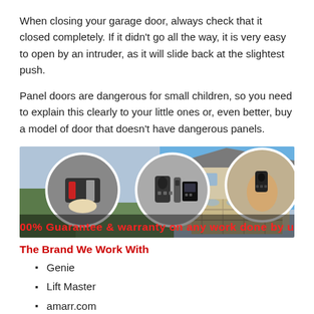When closing your garage door, always check that it closed completely. If it didn't go all the way, it is very easy to open by an intruder, as it will slide back at the slightest push.
Panel doors are dangerous for small children, so you need to explain this clearly to your little ones or, even better, buy a model of door that doesn't have dangerous panels.
[Figure (photo): Collage of garage door openers, remotes, and a house with a garage door. Banner text: 100% Guarantee & warranty on any work done by us]
The Brand We Work With
Genie
Lift Master
amarr.com
chiohd.com
raynor.com